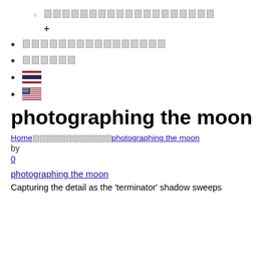○ [Thai characters link]
+ [expandable]
[Thai characters link]
[Thai characters short link]
[Thai flag]
[US flag]
photographing the moon
Home › photographing the moon
by
0
photographing the moon
Capturing the detail as the 'terminator' shadow sweeps